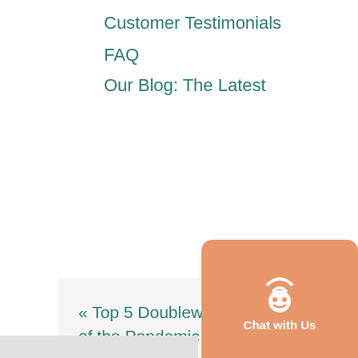Customer Testimonials
FAQ
Our Blog: The Latest
« Top 5 Doublewide Homes of the Pandemic
Introducing 3 Bedroom Smart Cottage Swan »
[Figure (other): Red MESSAGE US tab on right side with arrow icon]
[Figure (other): Orange chat widget with robot icon and Chat with Us text]